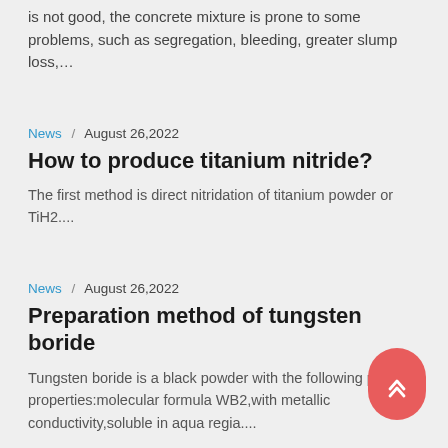…is not good, the concrete mixture is prone to some problems, such as segregation, bleeding, greater slump loss,…
News / August 26,2022
How to produce titanium nitride?
The first method is direct nitridation of titanium powder or TiH2....
News / August 26,2022
Preparation method of tungsten boride
Tungsten boride is a black powder with the following physical properties:molecular formula WB2,with metallic conductivity,soluble in aqua regia....